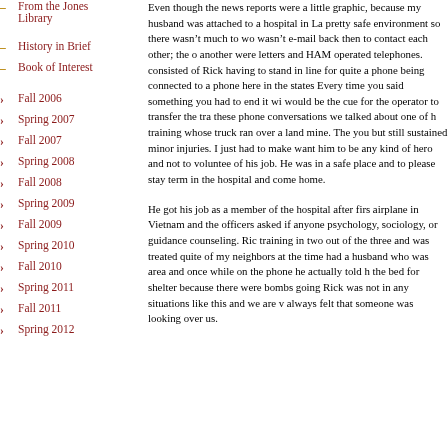From the Jones Library
History in Brief
Book of Interest
Fall 2006
Spring 2007
Fall 2007
Spring 2008
Fall 2008
Spring 2009
Fall 2009
Spring 2010
Fall 2010
Spring 2011
Fall 2011
Spring 2012
Even though the news reports were a little graphic, because my husband was attached to a hospital in La pretty safe environment so there wasn't much to wo wasn't e-mail back then to contact each other; the o another were letters and HAM operated telephones. consisted of Rick having to stand in line for quite a phone being connected to a phone here in the states Every time you said something you had to end it wi would be the cue for the operator to transfer the tra these phone conversations we talked about one of h training whose truck ran over a land mine. The you but still sustained minor injuries. I just had to make want him to be any kind of hero and not to voluntee of his job. He was in a safe place and to please stay term in the hospital and come home.
He got his job as a member of the hospital after firs airplane in Vietnam and the officers asked if anyone psychology, sociology, or guidance counseling. Ric training in two out of the three and was treated quite of my neighbors at the time had a husband who was area and once while on the phone he actually told h the bed for shelter because there were bombs going Rick was not in any situations like this and we are v always felt that someone was looking over us.